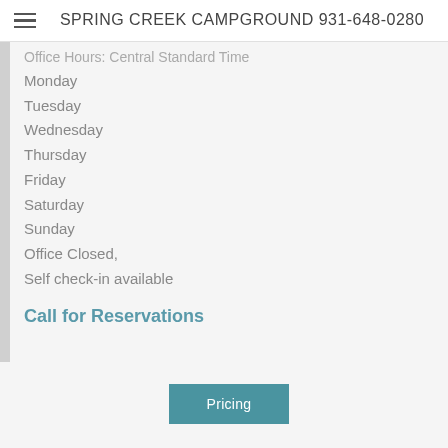SPRING CREEK CAMPGROUND 931-648-0280
Office Hours: Central Standard Time
Monday
Tuesday
Wednesday
Thursday
Friday
Saturday
Sunday
Office Closed,
Self check-in available
Call for Reservations
Pricing